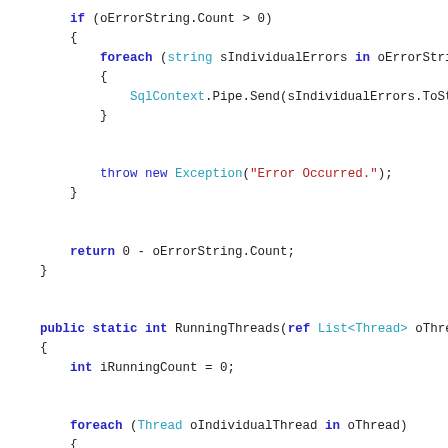Code snippet showing C# methods with error handling and thread management